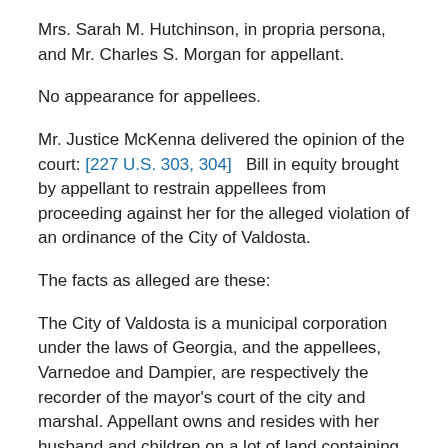Mrs. Sarah M. Hutchinson, in propria persona, and Mr. Charles S. Morgan for appellant.
No appearance for appellees.
Mr. Justice McKenna delivered the opinion of the court: [227 U.S. 303, 304]   Bill in equity brought by appellant to restrain appellees from proceeding against her for the alleged violation of an ordinance of the City of Valdosta.
The facts as alleged are these:
The City of Valdosta is a municipal corporation under the laws of Georgia, and the appellees, Varnedoe and Dampier, are respectively the recorder of the mayor's court of the city and marshal. Appellant owns and resides with her husband and children on a lot of land containing about 1 acre, more or less, situated near three quarters of a mile from the main